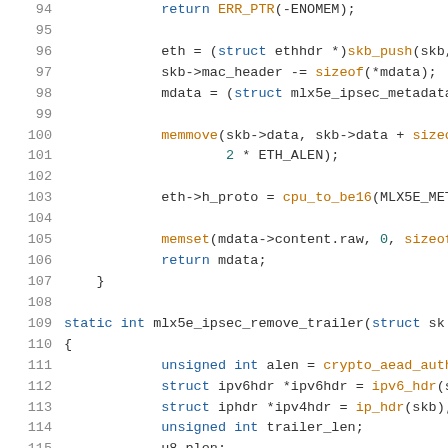Source code listing: C kernel networking code, lines 94-115
94: return ERR_PTR(-ENOMEM);
95: (blank)
96: eth = (struct ethhdr *)skb_push(skb, si
97: skb->mac_header -= sizeof(*mdata);
98: mdata = (struct mlx5e_ipsec_metadata *)
99: (blank)
100: memmove(skb->data, skb->data + sizeof(*m
101: 2 * ETH_ALEN);
102: (blank)
103: eth->h_proto = cpu_to_be16(MLX5E_METADA
104: (blank)
105: memset(mdata->content.raw, 0, sizeof(mda
106: return mdata;
107: }
108: (blank)
109: static int mlx5e_ipsec_remove_trailer(struct sk
110: {
111: unsigned int alen = crypto_aead_authsize
112: struct ipv6hdr *ipv6hdr = ipv6_hdr(skb)
113: struct iphdr *ipv4hdr = ip_hdr(skb);
114: unsigned int trailer_len;
115: u8 plen;